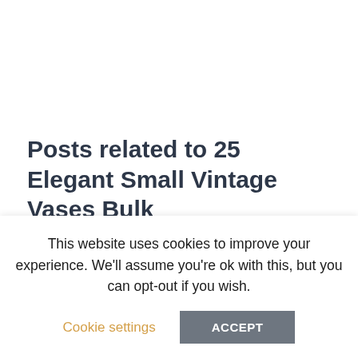Posts related to 25 Elegant Small Vintage Vases Bulk
Previous post
14 Wonderful Teardrop Wall Vase
Next post
14 Unique Hoosier Glass Vase
This website uses cookies to improve your experience. We'll assume you're ok with this, but you can opt-out if you wish.
Cookie settings
ACCEPT